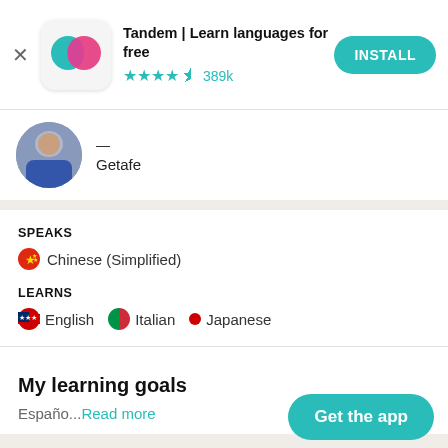[Figure (screenshot): App store banner with Tandem app icon (two overlapping chat bubble icons in teal and pink), app title, star rating, and INSTALL button]
Tandem | Learn languages for free
★★★★½ 389k
[Figure (photo): Profile photo of a person wearing blue, partially cropped]
—
Getafe
SPEAKS
🇨🇳 Chinese (Simplified)
LEARNS
🇺🇸 English   🇮🇹 Italian   • Japanese
My learning goals
Españo...Read more